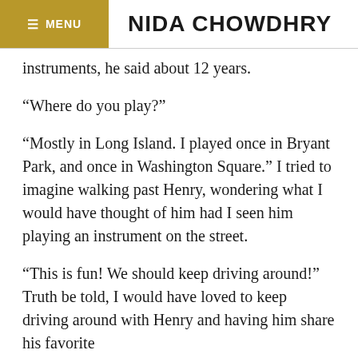≡ MENU   NIDA CHOWDHRY
instruments, he said about 12 years.
“Where do you play?”
“Mostly in Long Island. I played once in Bryant Park, and once in Washington Square.” I tried to imagine walking past Henry, wondering what I would have thought of him had I seen him playing an instrument on the street.
“This is fun! We should keep driving around!” Truth be told, I would have loved to keep driving around with Henry and having him share his favorite